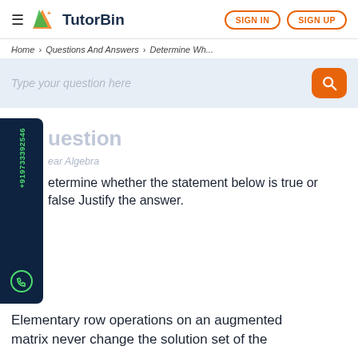TutorBin — SIGN IN | SIGN UP
Home > Questions And Answers > Determine Wh...
Type your question here
Question
Linear Algebra
Determine whether the statement below is true or false Justify the answer.
Elementary row operations on an augmented matrix never change the solution set of the